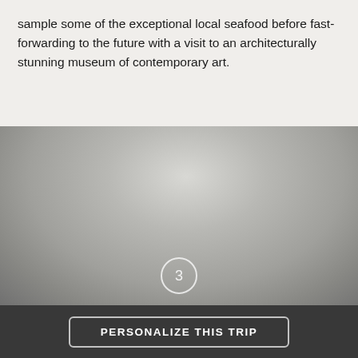sample some of the exceptional local seafood before fast-forwarding to the future with a visit to an architecturally stunning museum of contemporary art.
[Figure (photo): Large photograph placeholder showing a grey gradient image with a circled number 3 at the bottom center]
PERSONALIZE THIS TRIP